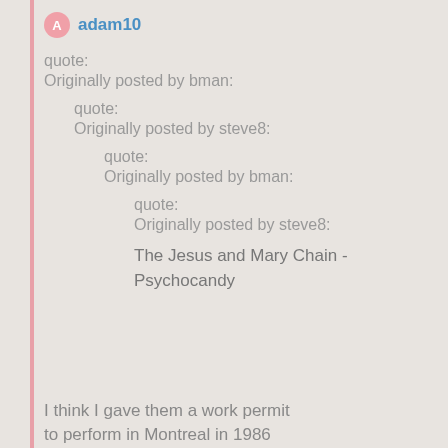adam10
quote:
Originally posted by bman:
quote:
Originally posted by steve8:
quote:
Originally posted by bman:
quote:
Originally posted by steve8:
The Jesus and Mary Chain - Psychocandy
I think I gave them a work permit to perform in Montreal in 1986